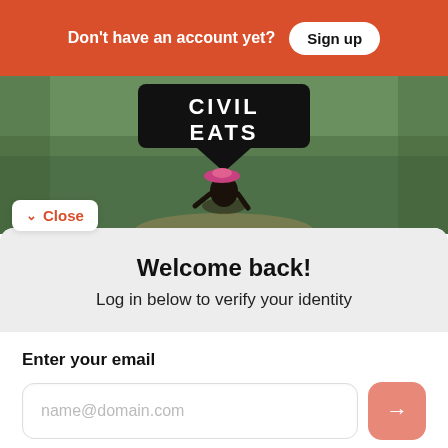Don't have an account yet?
Sign up
[Figure (photo): Photo of a farmworker in a field with a Civil Eats speech bubble sign]
Close
Welcome back!
Log in below to verify your identity
Enter your email
name@domain.com
OR LOG IN WITH
Facebook
Google